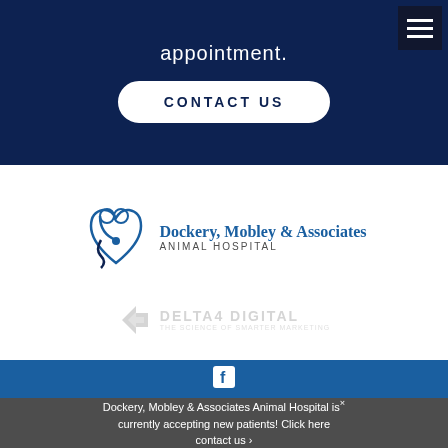appointment.
CONTACT US
[Figure (logo): Dockery, Mobley & Associates Animal Hospital logo with heart and stethoscope icon]
[Figure (logo): Delta4 Digital logo - The Science of Smarter Marketing]
[Figure (other): Facebook social media icon in blue bar]
Dockery, Mobley & Associates Animal Hospital is currently accepting new patients! Click here contact us >